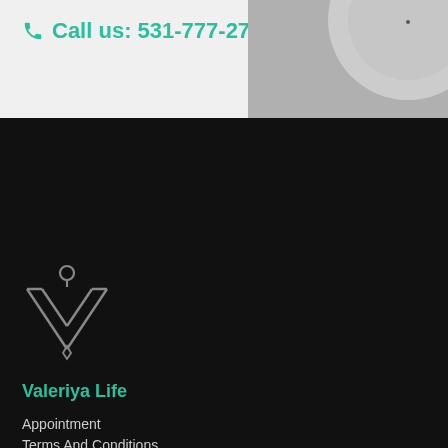📞 Call us: 531-777-2752
[Figure (photo): Partial circular object on gray background, cropped at top right]
[Figure (logo): Valeriya Life logo: stylized V shape with location pin icon, gray color]
Valeriya Life
Appointment
Terms And Conditions
Privacy Policy
Contact
Phone: 531-777-2752
Email: contact@valeriya.life
1515 S 204th St, Suite 105 Omaha, Nebraska 68022
Business Hours